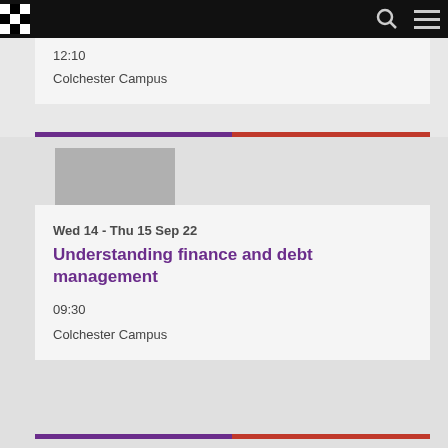Navigation bar with logo, search, and menu
12:10
Colchester Campus
[Figure (photo): Gray placeholder image for event]
Wed 14 - Thu 15 Sep 22
Understanding finance and debt management
09:30
Colchester Campus